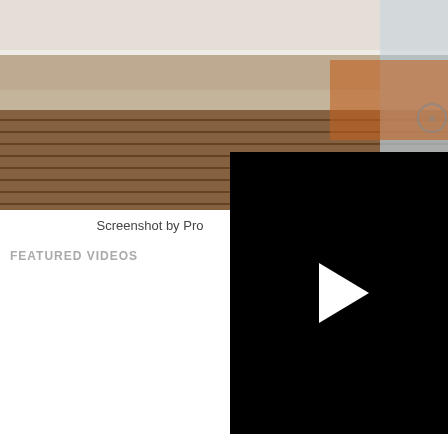[Figure (screenshot): Partial webpage screenshot showing a nature scene with a wooden bridge/walkway and waterfall in the background, partially overlaid by a black video player with a white play button triangle in the center. A small circular icon is visible in the top-right corner of the nature image.]
Screenshot by Pro
FEATURED VIDEOS